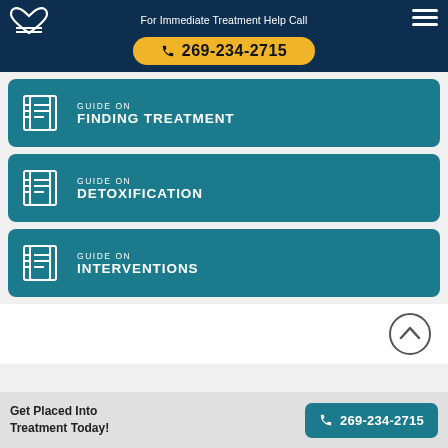For Immediate Treatment Help Call 269-234-2715
[Figure (infographic): Guide on Finding Treatment - teal card with newspaper icon]
[Figure (infographic): Guide on Detoxification - teal card with newspaper icon]
[Figure (infographic): Guide on Interventions - teal card with newspaper icon]
Get Placed Into Treatment Today! 269-234-2715